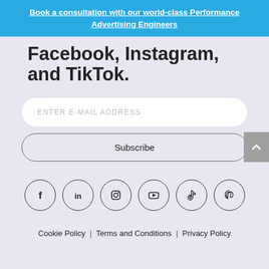Book a consultation with our world-class Performance Advertising Engineers
Facebook, Instagram, and TikTok.
ENTER E-MAIL ADDRESS
Subscribe
[Figure (infographic): Row of six social media icons in circles: Facebook, LinkedIn, Instagram, YouTube, TikTok, Pinterest]
Cookie Policy | Terms and Conditions | Privacy Policy